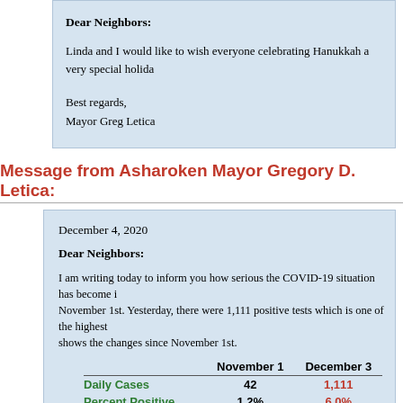Dear Neighbors:
Linda and I would like to wish everyone celebrating Hanukkah a very special holida
Best regards,
Mayor Greg Letica
Message from Asharoken Mayor Gregory D. Letica:
December 4, 2020
Dear Neighbors:
I am writing today to inform you how serious the COVID-19 situation has become in November 1st. Yesterday, there were 1,111 positive tests which is one of the highest shows the changes since November 1st.
|  | November 1 | December 3 |
| --- | --- | --- |
| Daily Cases | 42 | 1,111 |
| Percent Positive | 1.2% | 6.0% |
| Hospitalized | 42 | 310 |
| ICU Cases | 6 | 56 |
| Intubated in ICU | 2 | 22 |
Unfortunately it is reported that this will get worse before it gets much better and i